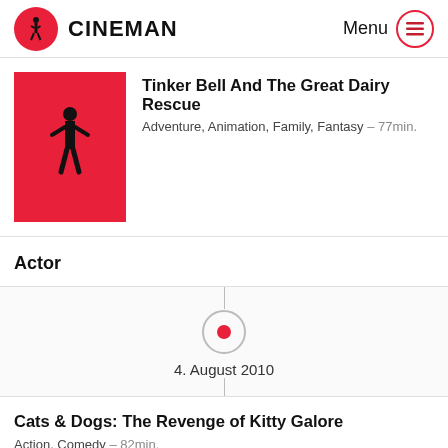CINEMAN  Menu
[Figure (other): Movie poster placeholder: red background with silhouette of a standing person]
Tinker Bell And The Great Dairy Rescue
Adventure, Animation, Family, Fantasy – 77min.
Actor
4. August 2010
Cats & Dogs: The Revenge of Kitty Galore
Action, Comedy – 82min.
Cars and dogs unite to save the earth from a terrible